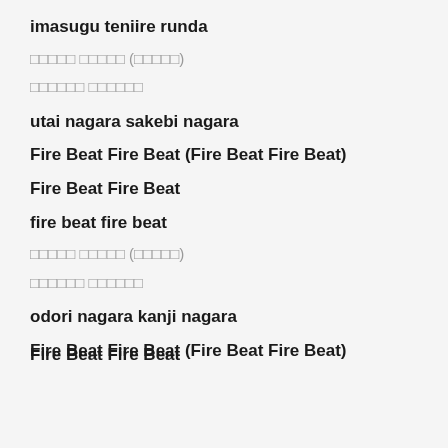imasugu teniire runda
□□□□□ □□□□□ (□□□□□)
□□□□□□ □□□□□□
utai nagara sakebi nagara
Fire Beat Fire Beat (Fire Beat Fire Beat)
Fire Beat Fire Beat
fire beat fire beat
□□□□□ □□□□□ (□□□□□)
□□□□□□ □□□□□□
odori nagara kanji nagara
Fire Beat Fire Beat (Fire Beat Fire Beat)
Fire Beat Fire Beat